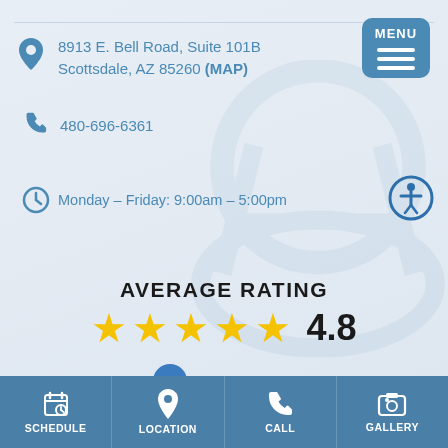[Figure (screenshot): Mobile app screenshot showing business info with address, phone, hours, average rating 4.8 with 418 reviews, and bottom navigation bar]
8913 E. Bell Road, Suite 101B Scottsdale, AZ 85260 (MAP)
480-696-6361
Monday – Friday: 9:00am – 5:00pm
AVERAGE RATING
4.8
418 Reviews